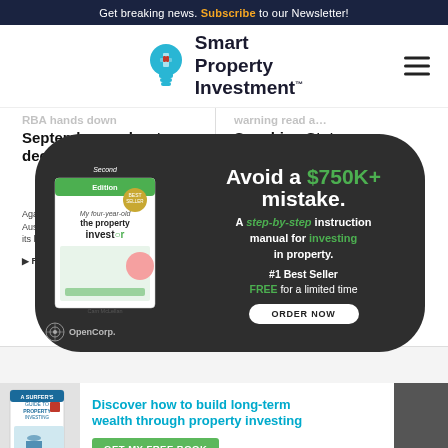Get breaking news. Subscribe to our Newsletter!
[Figure (logo): Smart Property Investment logo with lightbulb icon]
RBA hands down September cash rate decision
Against... Austra... its late...
Read...
warning read a Sunshine State s snatch would-b ...nds
hine Coa emerge he ever-c crim...
[Figure (illustration): OpenCorp advertisement: Avoid a $750K+ mistake. A step-by-step instruction manual for investing in property. #1 Best Seller FREE for a limited time. ORDER NOW button. Book cover image shown.]
[Figure (illustration): Bottom banner advertisement: Discover how to build long-term wealth through property investing. GET MY FREE BOOK button.]